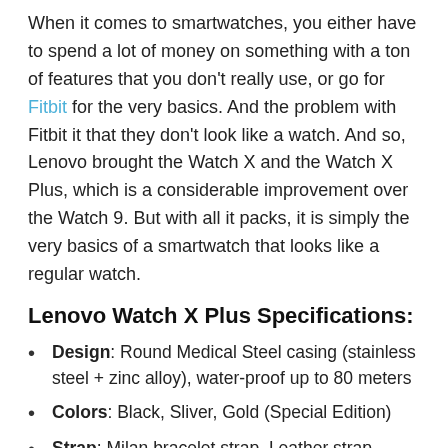When it comes to smartwatches, you either have to spend a lot of money on something with a ton of features that you don't really use, or go for Fitbit for the very basics. And the problem with Fitbit it that they don't look like a watch. And so, Lenovo brought the Watch X and the Watch X Plus, which is a considerable improvement over the Watch 9. But with all it packs, it is simply the very basics of a smartwatch that looks like a regular watch.
Lenovo Watch X Plus Specifications:
Design: Round Medical Steel casing (stainless steel + zinc alloy), water-proof up to 80 meters
Colors: Black, Sliver, Gold (Special Edition)
Strap: Milan bracelet strap, Leather strap (special edition)
Display: 42.5mm Sapphire Crystal Glass with OLED display inside